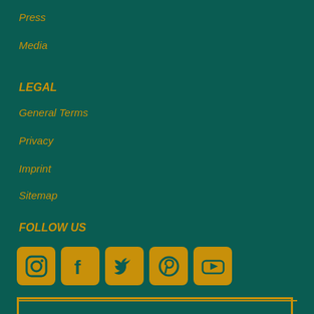Press
Media
LEGAL
General Terms
Privacy
Imprint
Sitemap
FOLLOW US
[Figure (infographic): Row of 5 social media icons (Instagram, Facebook, Twitter, Pinterest, YouTube) in gold/amber colored square boxes on dark teal background]
NEWSLETTER